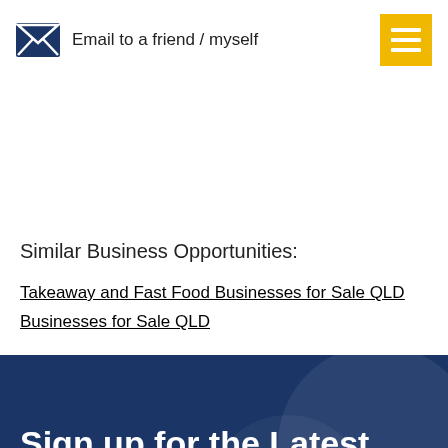Email to a friend / myself
Similar Business Opportunities:
Takeaway and Fast Food Businesses for Sale QLD
Businesses for Sale QLD
Sign up for the Latest Businesses For Sale
BUSINESS FOR SALE BULLETINS